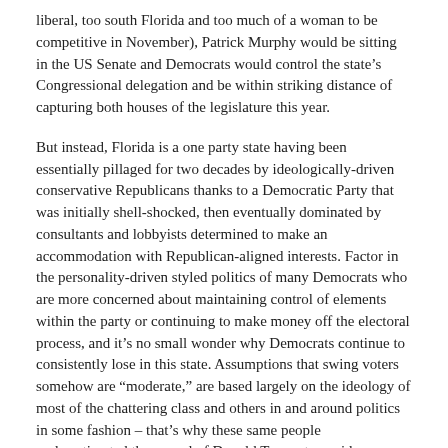liberal, too south Florida and too much of a woman to be competitive in November), Patrick Murphy would be sitting in the US Senate and Democrats would control the state's Congressional delegation and be within striking distance of capturing both houses of the legislature this year.
But instead, Florida is a one party state having been essentially pillaged for two decades by ideologically-driven conservative Republicans thanks to a Democratic Party that was initially shell-shocked, then eventually dominated by consultants and lobbyists determined to make an accommodation with Republican-aligned interests. Factor in the personality-driven styled politics of many Democrats who are more concerned about maintaining control of elements within the party or continuing to make money off the electoral process, and it's no small wonder why Democrats continue to consistently lose in this state. Assumptions that swing voters somehow are “moderate,” are based largely on the ideology of most of the chattering class and others in and around politics in some fashion – that’s why these same people underestimated the appeal of Donald Trump to a wider electorate in 2016 and continue to make similarly wrong assumptions even after Trump's victory.